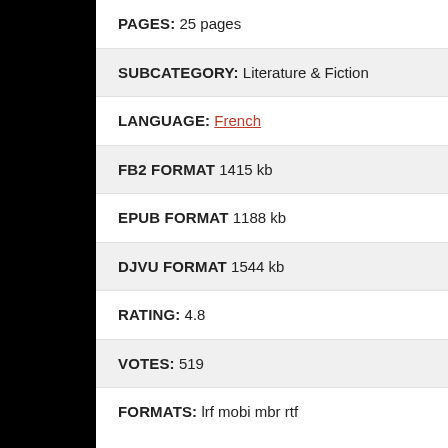PAGES: 25 pages
SUBCATEGORY: Literature & Fiction
LANGUAGE: French
FB2 FORMAT 1415 kb
EPUB FORMAT 1188 kb
DJVU FORMAT 1544 kb
RATING: 4.8
VOTES: 519
FORMATS: lrf mobi mbr rtf
Download FB2